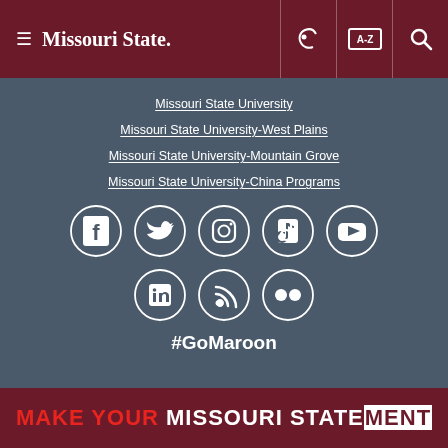Missouri State
Missouri State University
Missouri State University-West Plains
Missouri State University-Mountain Grove
Missouri State University-China Programs
[Figure (illustration): Social media icons in white circles: Facebook, Twitter, Instagram, TikTok, YouTube, LinkedIn, RSS, Flickr]
#GoMaroon
MAKE YOUR MISSOURI STATEMENT